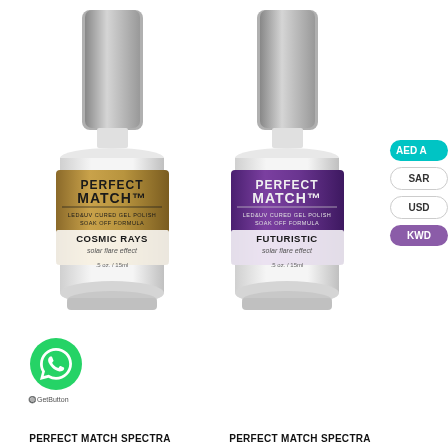[Figure (photo): Two Perfect Match gel nail polish bottles side by side. Left bottle has gold/bronze label reading 'PERFECT MATCH, LED&UV CURED GEL POLISH, SOAK OFF FORMULA, COSMIC RAYS, solar flare effect, .5oz/15ml'. Right bottle has purple label reading 'PERFECT MATCH, LED&UV CURED GEL POLISH, SOAK OFF FORMULA, FUTURISTIC, solar flare effect, .5oz/15ml'. Currency selector pills (AED, SAR, USD, KWD) on right edge. WhatsApp button bottom left.]
PERFECT MATCH SPECTRA
PERFECT MATCH SPECTRA